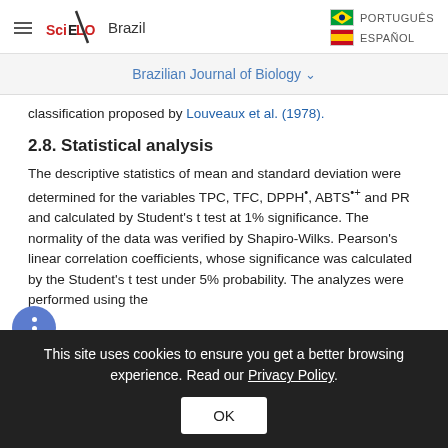SciELO Brazil — PORTUGUÊS | ESPAÑOL
Brazilian Journal of Biology ▾
classification proposed by Louveaux et al. (1978).
2.8. Statistical analysis
The descriptive statistics of mean and standard deviation were determined for the variables TPC, TFC, DPPH•, ABTS•+ and PR and calculated by Student's t test at 1% significance. The normality of the data was verified by Shapiro-Wilks. Pearson's linear correlation coefficients, whose significance was calculated by the Student's t test under 5% probability. The analyzes were performed using the
This site uses cookies to ensure you get a better browsing experience. Read our Privacy Policy.